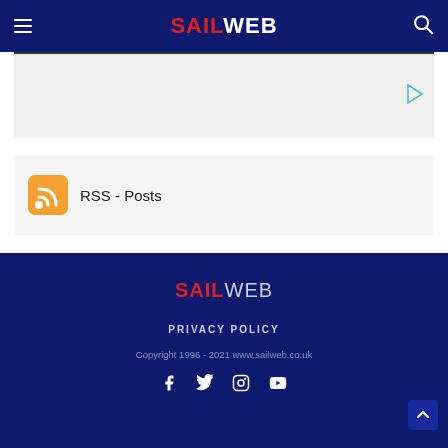SAILWEB
[Figure (other): Advertisement banner with play button icon]
RSS - Posts
SAILWEB
PRIVACY POLICY
Copyright 1996 - 2021 www.sailweb.co.uk